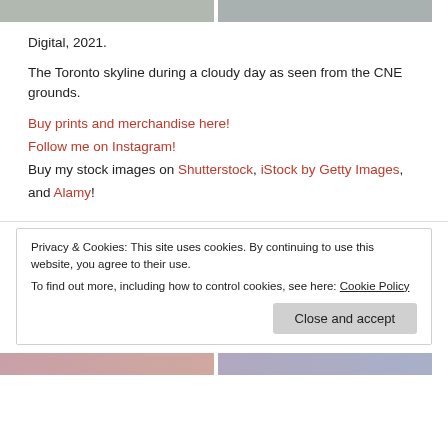[Figure (photo): Two photos at the top of the page showing outdoor scenes]
Digital, 2021.
The Toronto skyline during a cloudy day as seen from the CNE grounds.
Buy prints and merchandise here!
Follow me on Instagram!
Buy my stock images on Shutterstock, iStock by Getty Images, and Alamy!
Privacy & Cookies: This site uses cookies. By continuing to use this website, you agree to their use.
To find out more, including how to control cookies, see here: Cookie Policy
[Figure (photo): Two photos at the bottom of the page]